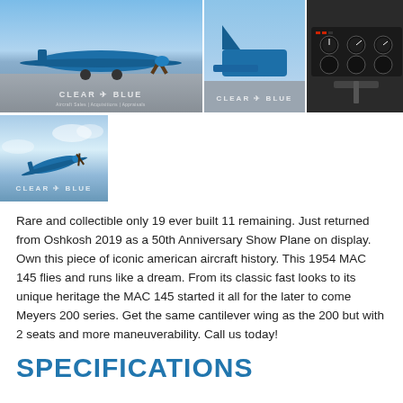[Figure (photo): Three aircraft photos in top row: large photo of blue aircraft on tarmac with Clear Blue watermark, medium photo of aircraft tail section with Clear Blue watermark, small photo of cockpit instrument panel]
[Figure (photo): Bottom-left photo of blue aircraft in flight against sky background with Clear Blue watermark]
Rare and collectible only 19 ever built 11 remaining. Just returned from Oshkosh 2019 as a 50th Anniversary Show Plane on display. Own this piece of iconic american aircraft history. This 1954 MAC 145 flies and runs like a dream. From its classic fast looks to its unique heritage the MAC 145 started it all for the later to come Meyers 200 series. Get the same cantilever wing as the 200 but with 2 seats and more maneuverability. Call us today!
SPECIFICATIONS